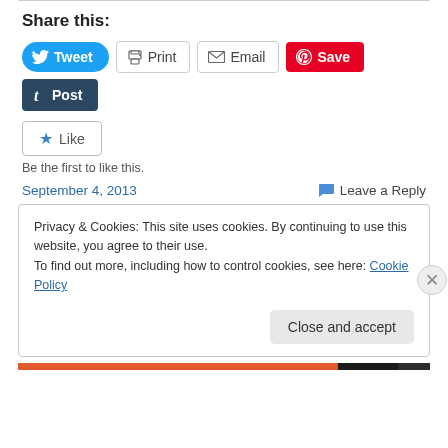Share this:
[Figure (infographic): Social sharing buttons: Tweet (Twitter, blue), Print (gray outlined), Email (gray outlined), Save (Pinterest, red), Post (Tumblr, dark blue)]
[Figure (infographic): Like button with star icon]
Be the first to like this.
September 4, 2013
Leave a Reply
Privacy & Cookies: This site uses cookies. By continuing to use this website, you agree to their use.
To find out more, including how to control cookies, see here: Cookie Policy
Close and accept